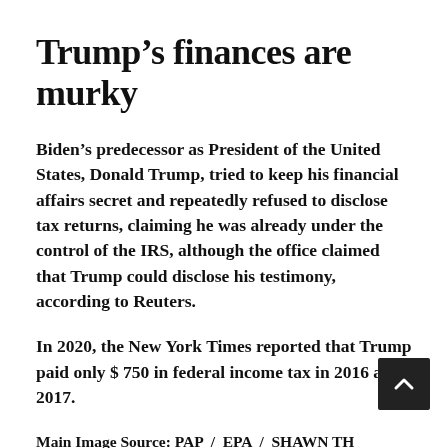Trump’s finances are murky
Biden’s predecessor as President of the United States, Donald Trump, tried to keep his financial affairs secret and repeatedly refused to disclose tax returns, claiming he was already under the control of the IRS, although the office claimed that Trump could disclose his testimony, according to Reuters.
In 2020, the New York Times reported that Trump paid only $ 750 in federal income tax in 2016 and 2017.
Main Image Source: PAP  /  EPA  /  SHAWN TH…  /  POOL